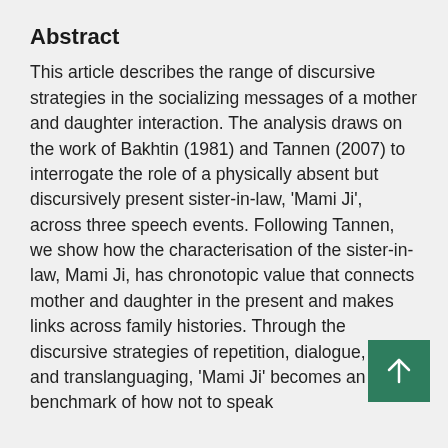Abstract
This article describes the range of discursive strategies in the socializing messages of a mother and daughter interaction. The analysis draws on the work of Bakhtin (1981) and Tannen (2007) to interrogate the role of a physically absent but discursively present sister-in-law, 'Mami Ji', across three speech events. Following Tannen, we show how the characterisation of the sister-in-law, Mami Ji, has chronotopic value that connects mother and daughter in the present and makes links across family histories. Through the discursive strategies of repetition, dialogue, detail, and translanguaging, 'Mami Ji' becomes an iconic benchmark of how not to speak...